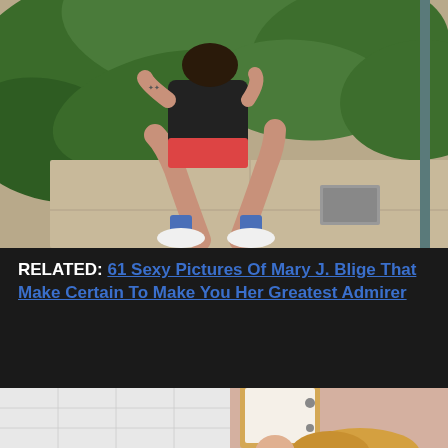[Figure (photo): A woman crouching on a sidewalk in front of large tropical plants, wearing a black top, patterned shorts, blue socks and white sneakers, with tattoos visible on her arms.]
RELATED: 61 Sexy Pictures Of Mary J. Blige That Make Certain To Make You Her Greatest Admirer
[Figure (photo): Partial view of a woman with long blonde hair in what appears to be a bathroom setting with white tile walls and a mirror.]